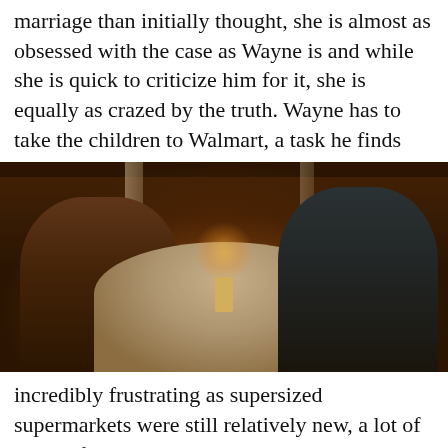marriage than initially thought, she is almost as obsessed with the case as Wayne is and while she is quick to criticize him for it, she is equally as crazed by the truth. Wayne has to take the children to Walmart, a task he finds
[Figure (photo): A couple seated at a round restaurant table with a white tablecloth and candle centerpiece, in a dimly lit, warm restaurant setting. A woman in a patterned dress is on the left, a man in dark clothing on the right. Background shows other diners and warm ambient lighting.]
incredibly frustrating as supersized supermarkets were still relatively new, a lot of people found them to be overwhelmingly large. After freaking out that his daughter wondered off he returns home feeling bewildered and plagued by fear of abduction. Amelia, meanwhile, uses her sexuality to convince a couple of cops to dish some